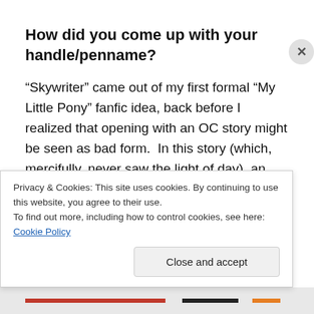How did you come up with your handle/penname?
“Skywriter” came out of my first formal “My Little Pony” fanfic idea, back before I realized that opening with an OC story might be seen as bad form.  In this story (which, mercifully, never saw the light of day), an unremarkable pegasus colt named Skywriter whose special talent is, you guessed it, skywriting, gets all depressed because his
Privacy & Cookies: This site uses cookies. By continuing to use this website, you agree to their use.
To find out more, including how to control cookies, see here: Cookie Policy
Close and accept